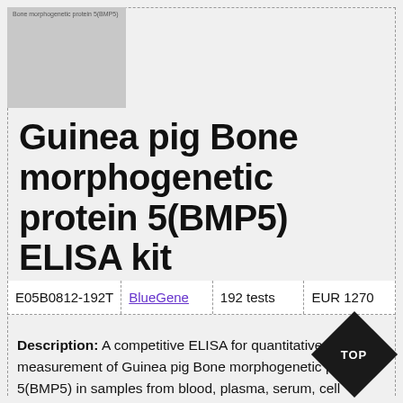[Figure (photo): Placeholder image for Guinea pig Bone morphogenetic protein 5 (BMP5) ELISA kit product image]
Guinea pig Bone morphogenetic protein 5(BMP5) ELISA kit
| E05B0812-192T | BlueGene | 192 tests | EUR 1270 |
| --- | --- | --- | --- |
Description: A competitive ELISA for quantitative measurement of Guinea pig Bone morphogenetic protein 5(BMP5) in samples from blood, plasma, serum, cell culture supernatant and other biological fluids. This is a high quality ELISA kit developed for optimal performance with samples from the